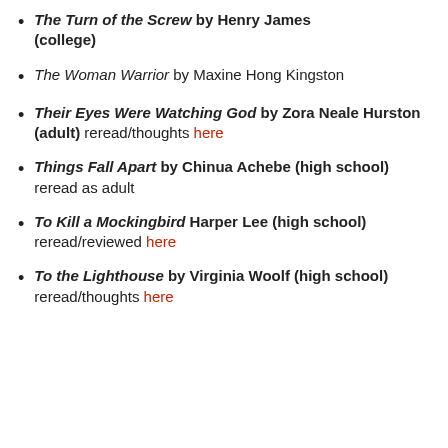The Turn of the Screw by Henry James (college)
The Woman Warrior by Maxine Hong Kingston
Their Eyes Were Watching God by Zora Neale Hurston (adult) reread/thoughts here
Things Fall Apart by Chinua Achebe (high school) reread as adult
To Kill a Mockingbird Harper Lee (high school) reread/reviewed here
To the Lighthouse by Virginia Woolf (high school) reread/thoughts here